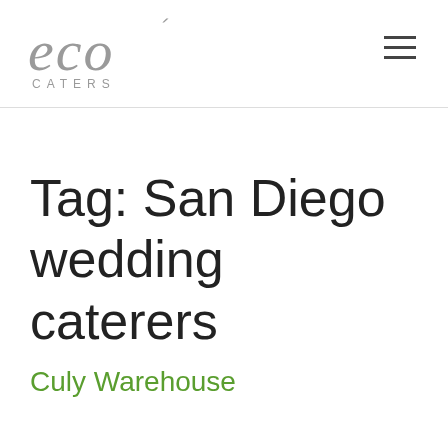[Figure (logo): Eco Caters logo: stylized 'eco' in grey italic serif with a small accent mark over the 'o', and 'CATERS' in grey spaced sans-serif below]
Tag: San Diego wedding caterers
Culy Warehouse